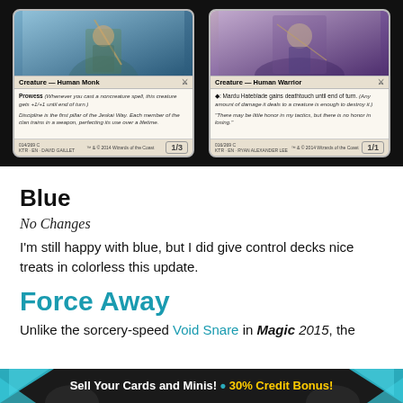[Figure (illustration): Two Magic: The Gathering cards side by side on dark background. Left card: Creature — Human Monk with Prowess ability text and flavor text. Power/toughness 1/3. Card number 014/269 C, KTR·EN, art by David Gaillet. Right card: Creature — Human Warrior with deathtouch ability and flavor text. Power/toughness 1/1. Card number 016/269 C, KTR·EN, art by Ryan Alexander Lee.]
Blue
No Changes
I'm still happy with blue, but I did give control decks nice treats in colorless this update.
Force Away
Unlike the sorcery-speed Void Snare in Magic 2015, the
Sell Your Cards and Minis! • 30% Credit Bonus!